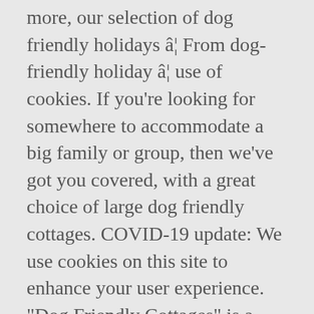more, our selection of dog friendly holidays â¦ From dog-friendly holiday â¦ use of cookies. If you're looking for somewhere to accommodate a big family or group, then we've got you covered, with a great choice of large dog friendly cottages. COVID-19 update: We use cookies on this site to enhance your user experience. "Dog Friendly Cottages" is a trading name of: Rest Easy Group Limited, Join for free and save an average £30 per booking on thousands of properties. 19356 pet-friendly hotels South of France. Explore over 250,000 pet friendly places to stay, play, and eat with your dog. There are thousands of dog friendly cottages and holiday homes all over the UK. Welcome to Haven â¦